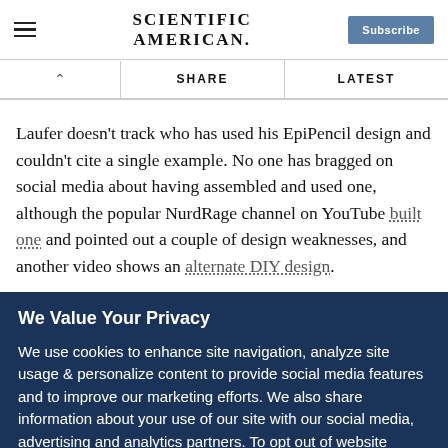Scientific American — Subscribe
SHARE   LATEST
Laufer doesn't track who has used his EpiPencil design and couldn't cite a single example. No one has bragged on social media about having assembled and used one, although the popular NurdRage channel on YouTube built one and pointed out a couple of design weaknesses, and another video shows an alternate DIY design.
We Value Your Privacy
We use cookies to enhance site navigation, analyze site usage & personalize content to provide social media features and to improve our marketing efforts. We also share information about your use of our site with our social media, advertising and analytics partners. To opt out of website cookies or otherwise manage your cookie settings, click on Cookie Settings. View O...